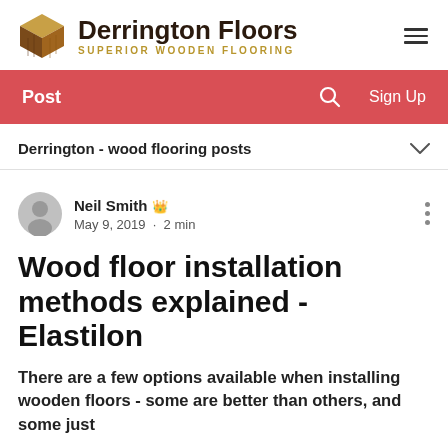Derrington Floors SUPERIOR WOODEN FLOORING
Post  Sign Up
Derrington - wood flooring posts
Neil Smith  May 9, 2019  ·  2 min
Wood floor installation methods explained - Elastilon
There are a few options available when installing wooden floors - some are better than others, and some just